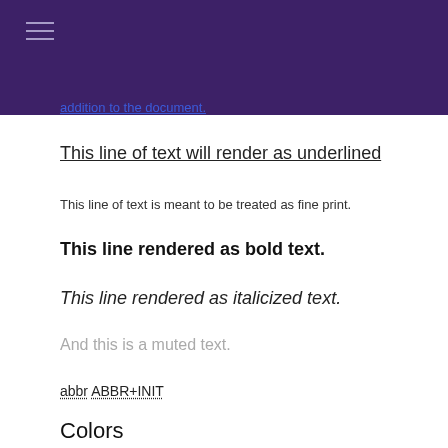addition to the document.
This line of text will render as underlined
This line of text is meant to be treated as fine print.
This line rendered as bold text.
This line rendered as italicized text.
And this is a muted text.
abbr ABBR+INIT
Colors